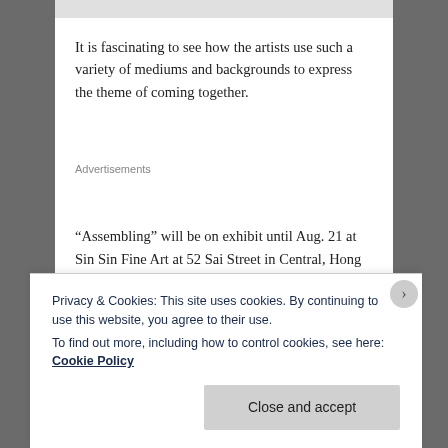[Figure (photo): Gray image strip at the top of the page]
It is fascinating to see how the artists use such a variety of mediums and backgrounds to express the theme of coming together.
Advertisements
“Assembling” will be on exhibit until Aug. 21 at Sin Sin Fine Art at 52 Sai Street in Central, Hong Kong. More
Privacy & Cookies: This site uses cookies. By continuing to use this website, you agree to their use.
To find out more, including how to control cookies, see here: Cookie Policy